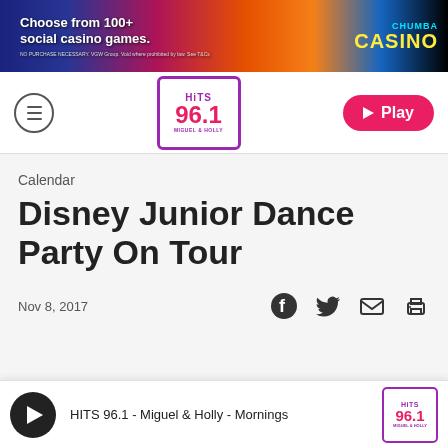[Figure (screenshot): Chumba Casino advertisement banner: 'Choose from 100+ social casino games.' with colorful game imagery and Chumba Casino logo on dark background]
[Figure (logo): Hits 96.1 radio station logo with purple border and pink numbers, 'Miguel & Holly' text below]
Play button (navigation)
Calendar
Disney Junior Dance Party On Tour
Nov 8, 2017
HITS 96.1 - Miguel & Holly - Mornings